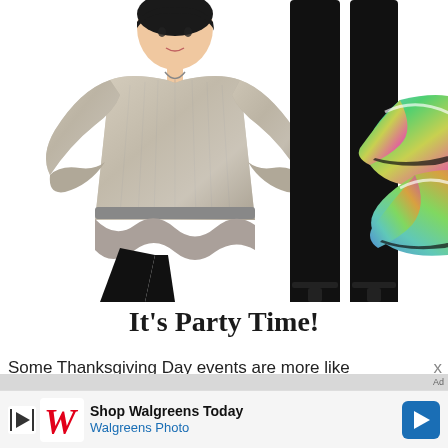[Figure (photo): Fashion photo collage: woman wearing a metallic silver pleated ruffled top with wide sleeves and black pants, plus a pair of iridescent holographic sequin pointed-toe flats displayed prominently on the right side]
It’s Party Time!
Some Thanksgiving Day events are more like
[Figure (infographic): Walgreens advertisement bar: arrow play icon, Walgreens W logo, text 'Shop Walgreens Today' and 'Walgreens Photo', blue diamond navigation icon on right]
x